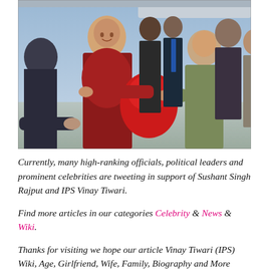[Figure (photo): Photo of the Dalai Lama in red and yellow robes smiling while exchanging a red gift/bundle with a man in an olive jacket. Several officials and security personnel stand in the background near what appears to be an aircraft.]
Currently, many high-ranking officials, political leaders and prominent celebrities are tweeting in support of Sushant Singh Rajput and IPS Vinay Tiwari.
Find more articles in our categories Celebrity & News & Wiki.
Thanks for visiting we hope our article Vinay Tiwari (IPS) Wiki, Age, Girlfriend, Wife, Family, Biography and More